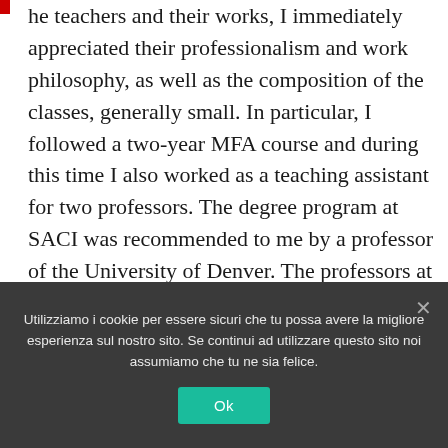the teachers and their works, I immediately appreciated their professionalism and work philosophy, as well as the composition of the classes, generally small. In particular, I followed a two-year MFA course and during this time I also worked as a teaching assistant for two professors. The degree program at SACI was recommended to me by a professor of the University of Denver. The professors at SACI come from different parts of the world: Canada, Italy, Portugal, the United States, France; and the high quality of their training was
Utilizziamo i cookie per essere sicuri che tu possa avere la migliore esperienza sul nostro sito. Se continui ad utilizzare questo sito noi assumiamo che tu ne sia felice.